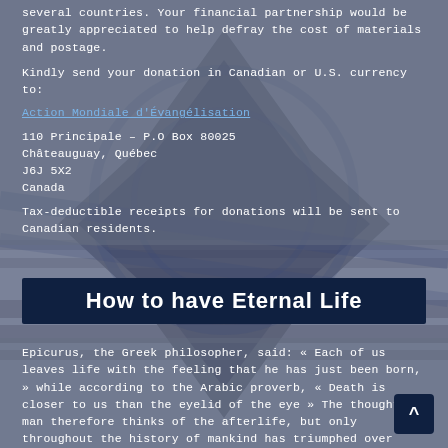several countries. Your financial partnership would be greatly appreciated to help defray the cost of materials and postage.
Kindly send your donation in Canadian or U.S. currency to:
Action Mondiale d'Évangélisation
110 Principale – P.O Box 80025
Châteauguay, Québec
J6J 5X2
Canada
Tax-deductible receipts for donations will be sent to Canadian residents.
How to have Eternal Life
Epicurus, the Greek philosopher, said: « Each of us leaves life with the feeling that he has just been born, » while according to the Arabic proverb, « Death is closer to us than the eyelid of the eye  » The thoughtful man therefore thinks of the afterlife, but only throughout the history of mankind has triumphed over death; one